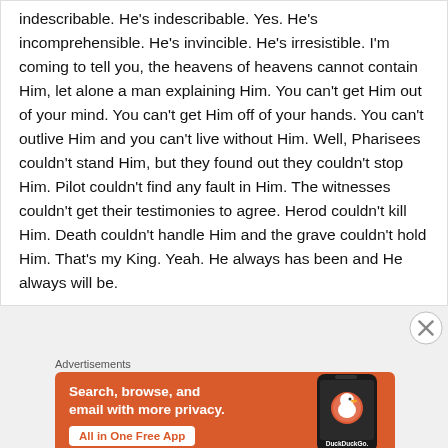indescribable. He's indescribable. Yes. He's incomprehensible. He's invincible. He's irresistible. I'm coming to tell you, the heavens of heavens cannot contain Him, let alone a man explaining Him. You can't get Him out of your mind. You can't get Him off of your hands. You can't outlive Him and you can't live without Him. Well, Pharisees couldn't stand Him, but they found out they couldn't stop Him. Pilot couldn't find any fault in Him. The witnesses couldn't get their testimonies to agree. Herod couldn't kill Him. Death couldn't handle Him and the grave couldn't hold Him. That's my King. Yeah. He always has been and He always will be.
Advertisements
[Figure (infographic): DuckDuckGo advertisement banner with orange background. Left side shows text 'Search, browse, and email with more privacy.' with a white button 'All in One Free App'. Right side shows a smartphone with the DuckDuckGo duck logo and 'DuckDuckGo.' text below.]